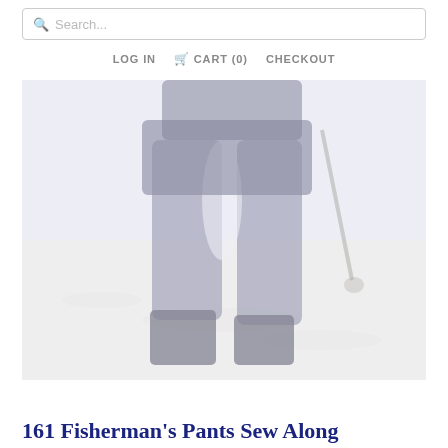Search...
LOG IN  CART (0)  CHECKOUT
[Figure (photo): A person wearing dark fisherman's pants, shown from the waist down, standing outdoors on a light-colored ground. The image is faded/washed out with pale lavender and gray tones.]
161 Fisherman's Pants Sew Along